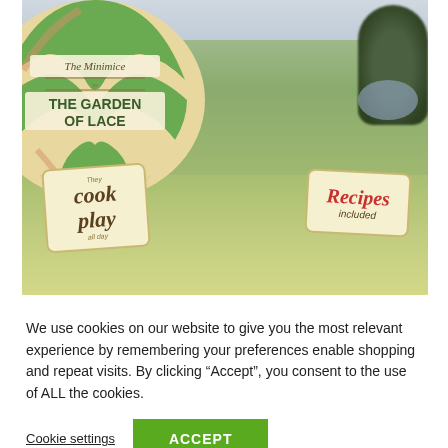[Figure (photo): Book cover image showing a hot air balloon with green and cream/tan stripes floating over a countryside field. The balloon has ropes leading down to a basket with a small figure. Text on the balloon reads 'The Minimice in THE GARDEN OF LACE'. Two decorative signs hang nearby: one says 'they cook play all day' and another says 'Recipes included'.]
We use cookies on our website to give you the most relevant experience by remembering your preferences enable shopping and repeat visits. By clicking “Accept”, you consent to the use of ALL the cookies.
Cookie settings
ACCEPT